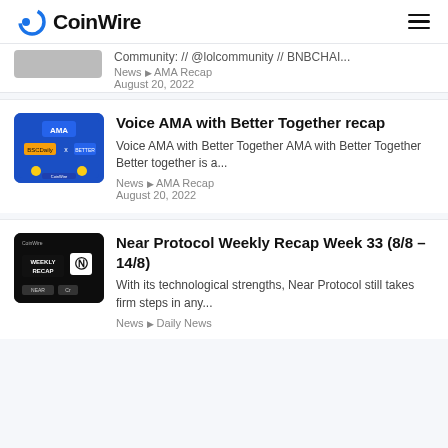CoinWire
Community: // @lolcommunity // BNBCHAIN...
News ▸ AMA Recap
August 20, 2022
[Figure (photo): Blue promotional banner with AMA text, BSCDaily x Better Together logos]
Voice AMA with Better Together recap
Voice AMA with Better Together AMA with Better Together Better together is a...
News ▸ AMA Recap
August 20, 2022
[Figure (photo): Dark WEEKLY RECAP banner with NEAR and crypto logos]
Near Protocol Weekly Recap Week 33 (8/8 – 14/8)
With its technological strengths, Near Protocol still takes firm steps in any...
News ▸ Daily News